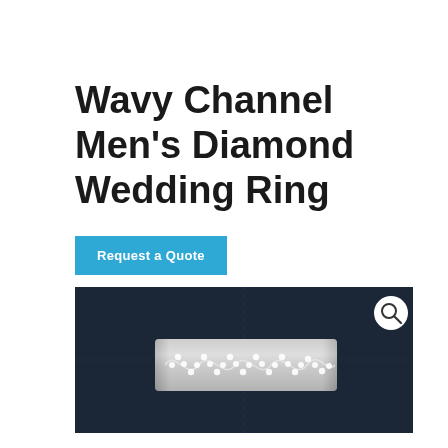Wavy Channel Men's Diamond Wedding Ring
Request a Quote
[Figure (photo): Product photo of a men's diamond wedding ring with a wavy channel set diamond pattern on a silver/white gold band, displayed on a dark navy background with a magnifier icon in the top right corner.]